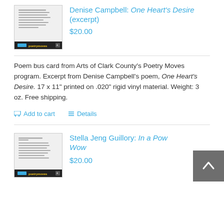[Figure (photo): Thumbnail image of a poem bus card for Denise Campbell's One Heart's Desire, showing text on white background with Arts Poetry Moves logo at bottom]
Denise Campbell: One Heart's Desire (excerpt)
$20.00
Poem bus card from Arts of Clark County's Poetry Moves program. Excerpt from Denise Campbell's poem, One Heart's Desire. 17 x 11" printed on .020" rigid vinyl material. Weight: 3 oz. Free shipping.
Add to cart   Details
[Figure (photo): Thumbnail image of a poem bus card for Stella Jeng Guillory's In a Pow Wow, showing text on white background with Arts Poetry Moves logo at bottom]
Stella Jeng Guillory: In a Pow Wow
$20.00